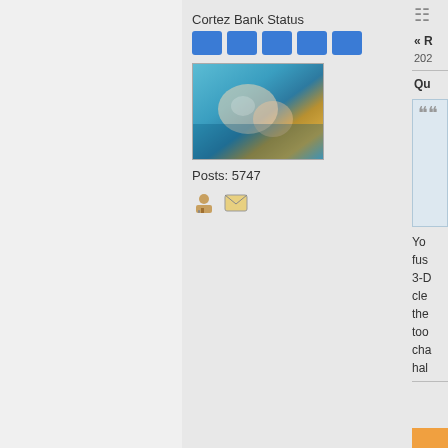Cortez Bank Status
[Figure (illustration): Five blue rounded rectangle status bars]
[Figure (photo): Underwater photo of two people snorkeling]
Posts: 5747
[Figure (illustration): Profile icon and mail envelope icon]
« R
202
Qu
[Figure (illustration): Quotation box with decorative quote marks and partially visible text lines]
Yo
fus
3-D
cle
the
too
cha
hal
[Figure (illustration): Orange block at bottom right]